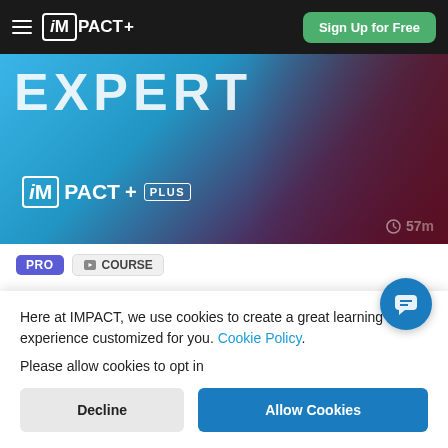iMPACT+ | Sign Up for Free
[Figure (screenshot): Hero banner showing 'EXPERT' text overlay with IMPACT+ PLUS logo and a woman in dark jacket and red blazer, duration 57m shown]
PRO   COURSE
Your Role as a Subject Matter Expert
Level: Beginner
Updated: Apr 18, 2022
Here at IMPACT, we use cookies to create a great learning experience customized for you. Cookie Policy.
Please allow cookies to opt in
Decline   Allow Cookies